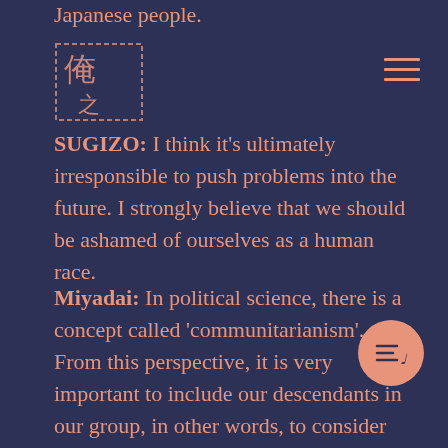Japanese people.
[Figure (logo): Stylized kanji logo mark with dotted border, resembling a Japanese brand/publication logo]
SUGIZO: I think it's ultimately irresponsible to push problems into the future. I strongly believe that we should be ashamed of ourselves as a human race.
Miyadai: In political science, there is a concept called 'communitarianism'. From this perspective, it is very important to include our descendants in our group, in other words, to consider our descendants as our group of friends. Since there is a time lag for climate change, if we behave in an excessively restrained manner, we can maintain the environment for our children and grandchildren in the future. In this sense, we need this communitarian idea, especially the sense of community across time. If we only think of the current